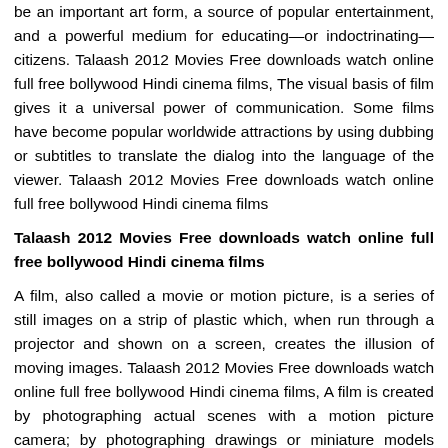be an important art form, a source of popular entertainment, and a powerful medium for educating—or indoctrinating—citizens. Talaash 2012 Movies Free downloads watch online full free bollywood Hindi cinema films, The visual basis of film gives it a universal power of communication. Some films have become popular worldwide attractions by using dubbing or subtitles to translate the dialog into the language of the viewer. Talaash 2012 Movies Free downloads watch online full free bollywood Hindi cinema films
Talaash 2012 Movies Free downloads watch online full free bollywood Hindi cinema films
A film, also called a movie or motion picture, is a series of still images on a strip of plastic which, when run through a projector and shown on a screen, creates the illusion of moving images. Talaash 2012 Movies Free downloads watch online full free bollywood Hindi cinema films, A film is created by photographing actual scenes with a motion picture camera; by photographing drawings or miniature models using traditional animation techniques; by means of CGI and computer animation; or by a combination of some or all of these techniques.